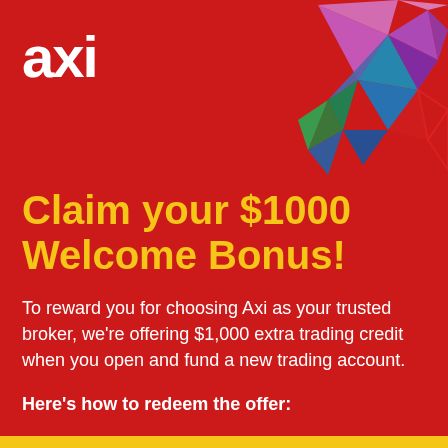[Figure (logo): Axi logo in white bold text with a colorful geometric crystal/polygon shape in red, blue, purple, green, magenta floating to the right]
Claim your $1000 Welcome Bonus!
To reward you for choosing Axi as your trusted broker, we're offering $1,000 extra trading credit when you open and fund a new trading account.
Here's how to redeem the offer: